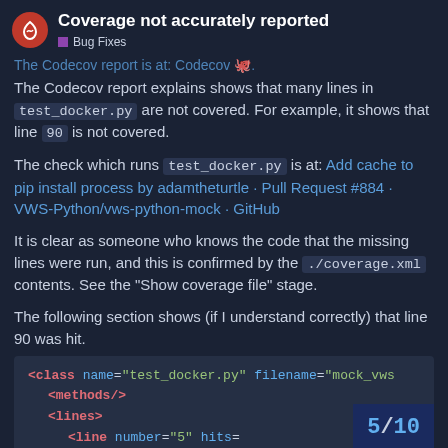Coverage not accurately reported
Bug Fixes
The Codecov report is at: Codecov 🐙.
The Codecov report explains shows that many lines in test_docker.py are not covered. For example, it shows that line 90 is not covered.
The check which runs test_docker.py is at: Add cache to pip install process by adamtheturtle · Pull Request #884 · VWS-Python/vws-python-mock · GitHub
It is clear as someone who knows the code that the missing lines were run, and this is confirmed by the ./coverage.xml contents. See the "Show coverage file" stage.
The following section shows (if I understand correctly) that line 90 was hit.
[Figure (screenshot): Code block showing XML: <class name="test_docker.py" filename="mock_vws...">  <methods/>  <lines>    <line number="5" hits=...]